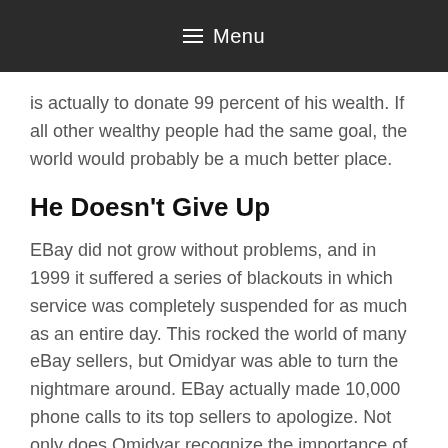≡ Menu
is actually to donate 99 percent of his wealth. If all other wealthy people had the same goal, the world would probably be a much better place.
He Doesn't Give Up
EBay did not grow without problems, and in 1999 it suffered a series of blackouts in which service was completely suspended for as much as an entire day. This rocked the world of many eBay sellers, but Omidyar was able to turn the nightmare around. EBay actually made 10,000 phone calls to its top sellers to apologize. Not only does Omidyar recognize the importance of each individual that contributes to eBay, but he was able to see the company through rough ti...